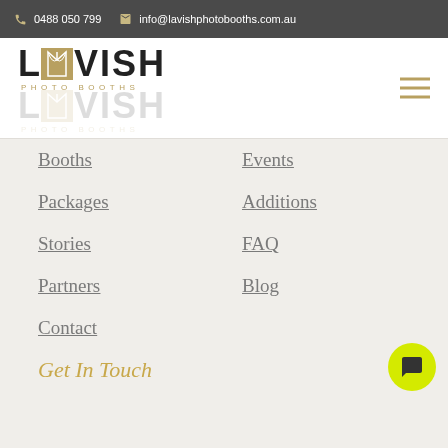0488 050 799   info@lavishphotobooths.com.au
[Figure (logo): Lavish Photo Booths logo - black and gold lettering with curtain icon]
Booths
Events
Packages
Additions
Stories
FAQ
Partners
Blog
Contact
Get In Touch